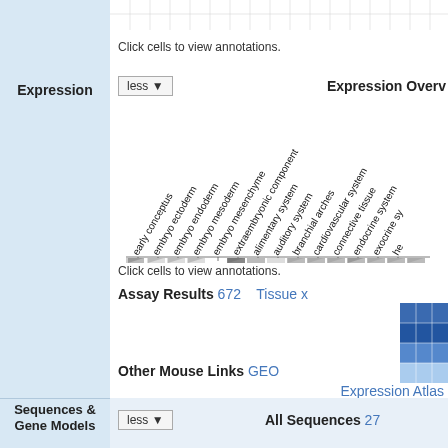Click cells to view annotations.
Expression
less
Expression Overview
[Figure (other): Expression overview chart with rotated column headers: early conceptus, embryo ectoderm, embryo endoderm, embryo mesoderm, embryo mesenchyme, extraembryonic component, alimentary system, auditory system, branchial arches, cardiovascular system, connective tissue, endocrine system, exocrine system (partial). Gray shaded cells in a row at bottom.]
Click cells to view annotations.
Assay Results 672   Tissue x
[Figure (other): Heatmap showing blue gradient cells (dark blue to light blue)]
Other Mouse Links GEO
Expression Atlas
[Figure (logo): Gene eXpression Database (GXD) logo - oval shape with gold border, mouse embryo image inside]
Sequences & Gene Models
less
All Sequences 27